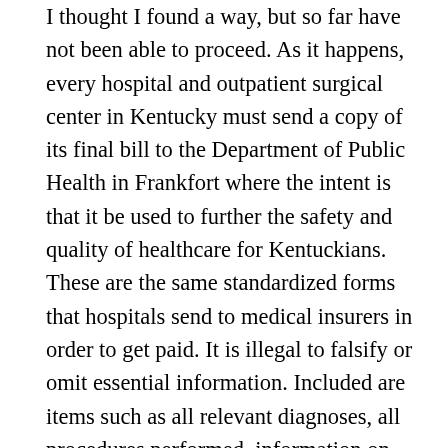I thought I found a way, but so far have not been able to proceed. As it happens, every hospital and outpatient surgical center in Kentucky must send a copy of its final bill to the Department of Public Health in Frankfort where the intent is that it be used to further the safety and quality of healthcare for Kentuckians. These are the same standardized forms that hospitals send to medical insurers in order to get paid. It is illegal to falsify or omit essential information. Included are items such as all relevant diagnoses, all procedures performed, information on how much was charged, and whether an insurer or patient was billed, whether the service was delivered in an inpatient or outpatient setting, and more. This is a particularly useful source of information